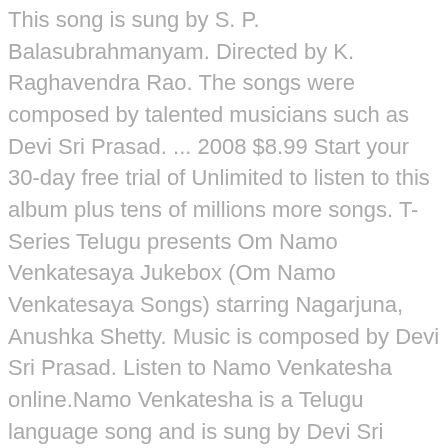This song is sung by S. P. Balasubrahmanyam. Directed by K. Raghavendra Rao. The songs were composed by talented musicians such as Devi Sri Prasad. ... 2008 $8.99 Start your 30-day free trial of Unlimited to listen to this album plus tens of millions more songs. T-Series Telugu presents Om Namo Venkatesaya Jukebox (Om Namo Venkatesaya Songs) starring Nagarjuna, Anushka Shetty. Music is composed by Devi Sri Prasad. Listen to Namo Venkatesha online.Namo Venkatesha is a Telugu language song and is sung by Devi Sri Prasad, Mano, and Megha.Namo Venkatesha, from the album Namo Venkatesa, was released in the year 2010.The duration of the song is 4:11.Download Telugu songs ... Victory Venkatesh has paired up with Srinu Vaitla this time and the expectations obviously ... Are you sure you want to continue? Listen to all songs in high quality & download Namo Narayana - Songs on Lord Venkatesa songs on Gaana.com Music by M.M. Download Om Namo Venkatesaya on Hungama Music app & get access to Rudra Naadam unlimited free songs, free